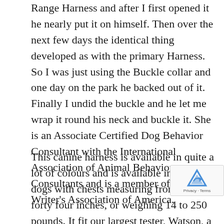Range Harness and after I first opened it he nearly put it on himself. Then over the next few days the identical thing developed as with the primary Harness. So I was just using the Buckle collar and one day on the park he backed out of it. Finally I undid the buckle and he let me wrap it round his neck and buckle it. She is an Associate Certified Dog Behavior Consultant with the International Association of Animal Behavior Consultants and is a member of Dog Writer's Association of America.
This canine harness is available in quite a lot of colours and is available in sizes for dogs with chests measuring from 14 to forty four inches, or weighing 14 to 250 pounds. It fit our largest tester, Watson, a one hundred fifteen-pound Bernese mountain dog with a 39-inch chest—one of the best, and its tw...